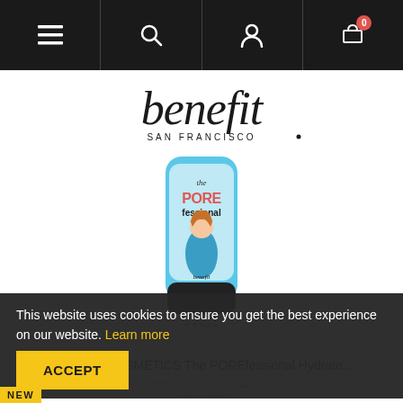Navigation bar with menu, search, user, and cart icons
[Figure (logo): Benefit Cosmetics logo with 'benefit' in large script font and 'SAN FRANCISCO' below]
[Figure (photo): Benefit Cosmetics The POREfessional Hydrate product tube with blue packaging and illustrated female character]
BENEFIT COSMETICS The POREfessional Hydrate...
This website uses cookies to ensure you get the best experience on our website. Learn more
ACCEPT
NEW